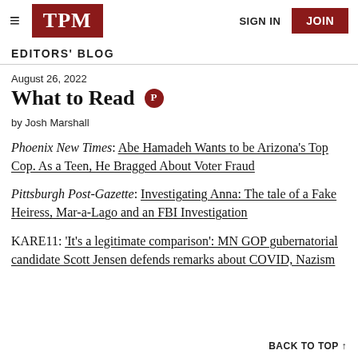TPM | SIGN IN | JOIN
EDITORS' BLOG
August 26, 2022
What to Read
by Josh Marshall
Phoenix New Times: Abe Hamadeh Wants to be Arizona's Top Cop. As a Teen, He Bragged About Voter Fraud
Pittsburgh Post-Gazette: Investigating Anna: The tale of a Fake Heiress, Mar-a-Lago and an FBI Investigation
KARE11: 'It's a legitimate comparison': MN GOP gubernatorial candidate Scott Jensen defends remarks about COVID, Nazism
BACK TO TOP ↑